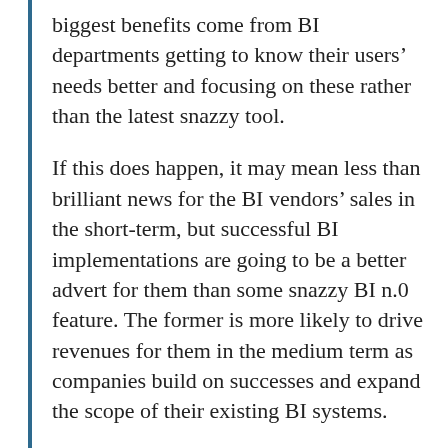biggest benefits come from BI departments getting to know their users' needs better and focusing on these rather than the latest snazzy tool.
If this does happen, it may mean less than brilliant news for the BI vendors' sales in the short-term, but successful BI implementations are going to be a better advert for them than some snazzy BI n.0 feature. The former is more likely to drive revenues for them in the medium term as companies build on successes and expand the scope of their existing BI systems.
See also: BI implementations are like